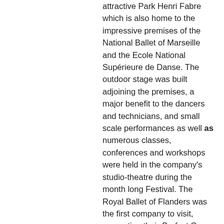attractive Park Henri Fabre which is also home to the impressive premises of the National Ballet of Marseille and the Ecole National Supérieure de Danse. The outdoor stage was built adjoining the premises, a major benefit to the dancers and technicians, and small scale performances as well as numerous classes, conferences and workshops were held in the company's studio-theatre during the month long Festival. The Royal Ballet of Flanders was the first company to visit, presenting their Perfect Gems programme, made up of ballets by Jerome Robbins, William Forsythe and David Dawson. It took Iggy Pop to silence the cicadas in the huge plane trees surrounding the stage, but the raucous sound could not disguise the fact that Michael Clark was having trouble to live up to the much published image of 'enfant terrible of British ballet'. Judging from the reserved but polite applause, audiences were stretched to find anything daring or original in Stravinsky Project Part 1, either in the short